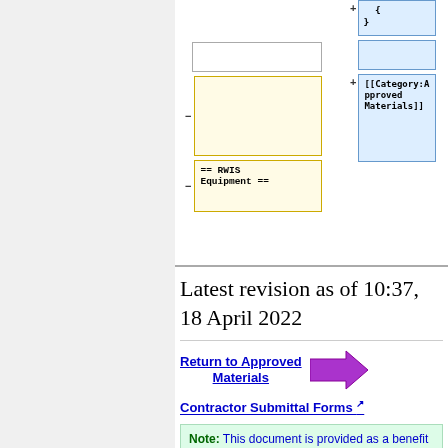[Figure (screenshot): Wiki diff view showing two columns of diff boxes. Left column has yellow-bordered boxes (one empty, one with '== RWIS Equipment =='), right column has blue-bordered boxes (one with code fragment '{ }' and '+', one empty, one with '[[Category:Approved Materials]]'). Plus and minus symbols indicate additions and deletions.]
Latest revision as of 10:37, 18 April 2022
Return to Approved Materials
Contractor Submittal Forms
Note: This document is provided as a benefit to contractors and suppliers